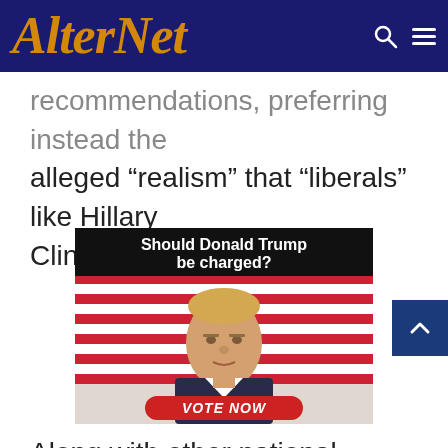AlterNet
recommendations, preferring instead the alleged “realism” that “liberals” like Hillary Clinton offer.
[Figure (other): Advertisement image with black banner reading 'Should Donald Trump be charged?' above a photo of Donald Trump in front of American flags, with a red 'VOTE NOW' button at the bottom.]
Along with other national newspapers, the